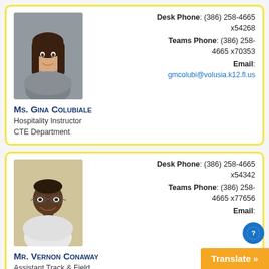[Figure (photo): Portrait photo of Ms. Gina Colubiale, a young woman with long dark hair, wearing a grey top, shown from shoulders up against a muted background.]
Desk Phone: (386) 258-4665 x54268
Teams Phone: (386) 258-4665 x70353
Email: gmcolubi@volusia.k12.fl.us
Ms. Gina Colubiale
Hospitality Instructor
CTE Department
[Figure (photo): Portrait photo of Mr. Vernon Conaway, an older Black man with glasses, wearing a light-colored shirt, smiling, shown from shoulders up against a cream/tan background.]
Desk Phone: (386) 258-4665 x54342
Teams Phone: (386) 258-4665 x77656
Email:
Mr. Vernon Conaway
Assistant Track & Field Coach
AE/ISS
vconaway@v...